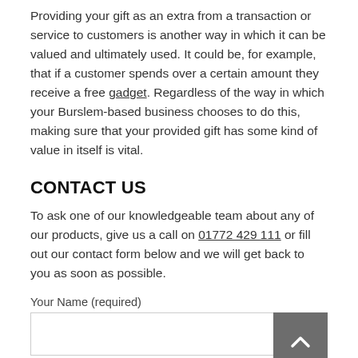Providing your gift as an extra from a transaction or service to customers is another way in which it can be valued and ultimately used. It could be, for example, that if a customer spends over a certain amount they receive a free gadget. Regardless of the way in which your Burslem-based business chooses to do this, making sure that your provided gift has some kind of value in itself is vital.
CONTACT US
To ask one of our knowledgeable team about any of our products, give us a call on 01772 429 111 or fill out our contact form below and we will get back to you as soon as possible.
Your Name (required)
Your Email (required)